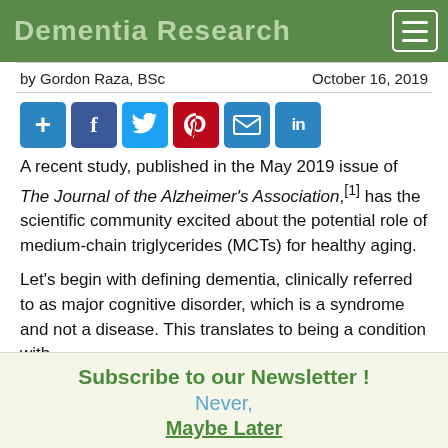Dementia Research
by Gordon Raza, BSc   October 16, 2019
[Figure (other): Social sharing icons: Add (+), Facebook, Twitter, Pinterest, Email, LinkedIn]
A recent study, published in the May 2019 issue of The Journal of the Alzheimer’s Association,[1] has the scientific community excited about the potential role of medium-chain triglycerides (MCTs) for healthy aging.
Let’s begin with defining dementia, clinically referred to as major cognitive disorder, which is a syndrome and not a disease. This translates to being a condition with
Subscribe to our Newsletter !
Never,
Maybe Later